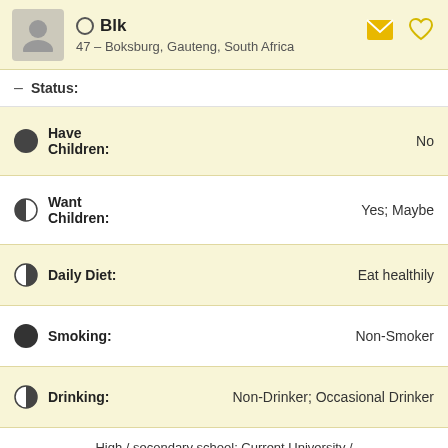Blk
47 – Boksburg, Gauteng, South Africa
Status:
Have Children: No
Want Children: Yes; Maybe
Daily Diet: Eat healthily
Smoking: Non-Smoker
Drinking: Non-Drinker; Occasional Drinker
Education: High / secondary school; Current University / College Student; Some University / College; Technical Diploma; Associates degree;